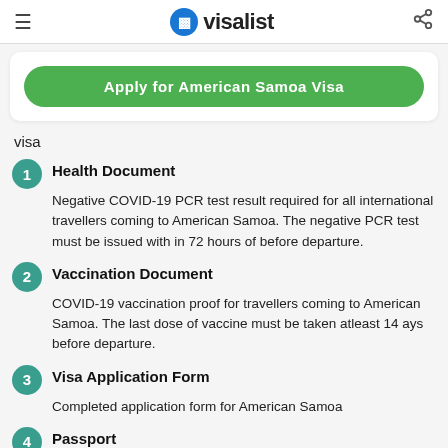visalist
Apply for American Samoa Visa
visa
1. Health Document – Negative COVID-19 PCR test result required for all international travellers coming to American Samoa. The negative PCR test must be issued with in 72 hours of before departure.
2. Vaccination Document – COVID-19 vaccination proof for travellers coming to American Samoa. The last dose of vaccine must be taken atleast 14 ays before departure.
3. Visa Application Form – Completed application form for American Samoa
4. Passport